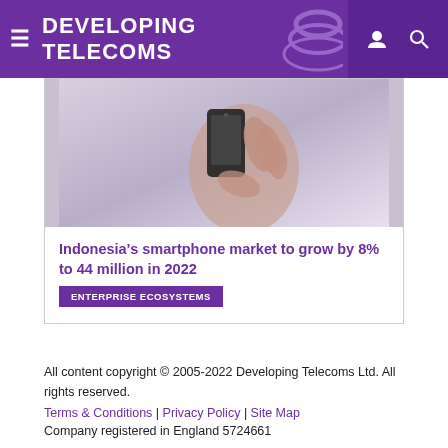DEVELOPING TELECOMS
[Figure (photo): Close-up photo of a hand holding a smartphone]
Indonesia's smartphone market to grow by 8% to 44 million in 2022
ENTERPRISE ECOSYSTEMS
All content copyright © 2005-2022 Developing Telecoms Ltd. All rights reserved.
Terms & Conditions | Privacy Policy | Site Map
Company registered in England 5724661